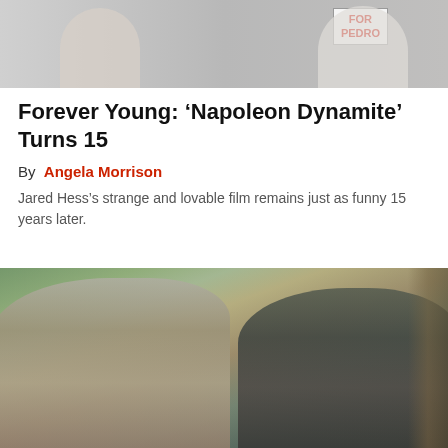[Figure (photo): Top portion of a photo showing people, one wearing a 'VOTE FOR PEDRO' shirt]
Forever Young: ‘Napoleon Dynamite’ Turns 15
By  Angela Morrison
Jared Hess’s strange and lovable film remains just as funny 15 years later.
[Figure (photo): A young woman and a young man smiling outdoors in a park setting]